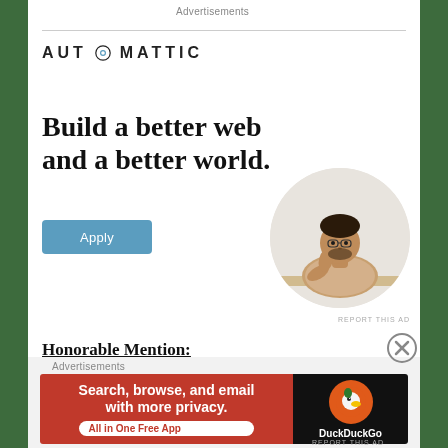Advertisements
[Figure (logo): Automattic company logo with text AUTOMATTIC and circle-O icon]
[Figure (illustration): Advertisement: Build a better web and a better world. Apply button with circular portrait photo of a person thinking at a desk]
Honorable Mention:
Ash vs Evil Dead Season 3 – still heartbroken that it was cancelled!
Advertisements
[Figure (infographic): DuckDuckGo banner ad: Search, browse, and email with more privacy. All in One Free App]